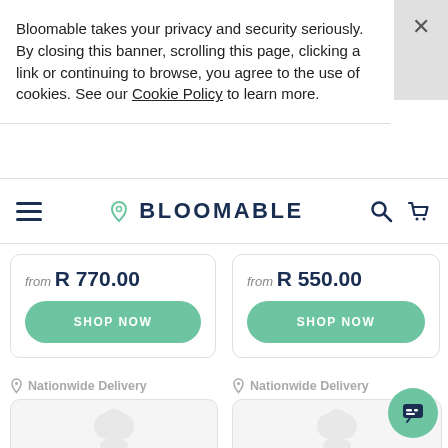Bloomable takes your privacy and security seriously. By closing this banner, scrolling this page, clicking a link or continuing to browse, you agree to the use of cookies. See our Cookie Policy to learn more.
BLOOMABLE
from R 770.00
SHOP NOW
from R 550.00
SHOP NOW
Nationwide Delivery
[Figure (photo): Product image placeholder (flower/gift)]
Nationwide Delivery
[Figure (photo): Product image placeholder (flower/gift)]